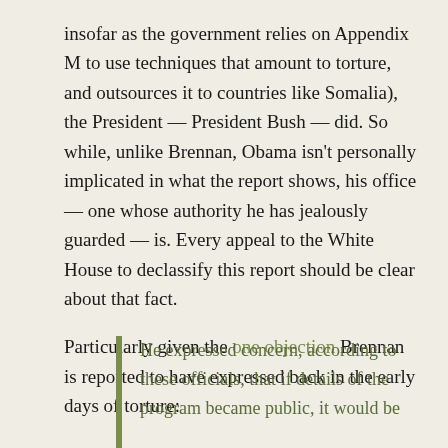insofar as the government relies on Appendix M to use techniques that amount to torture, and outsources it to countries like Somalia), the President — President Bush — did. So while, unlike Brennan, Obama isn't personally implicated in what the report shows, his office — one whose authority he has jealously guarded — is. Every appeal to the White House to declassify this report should be clear about that fact.
Particularly given the one objection Brennan is reported to have expressed back in the early days of torture:
He expressed concern, according to these officials, that if details of the program became public, it would be